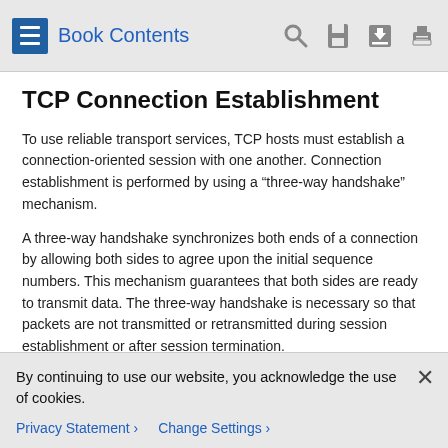Book Contents
TCP Connection Establishment
To use reliable transport services, TCP hosts must establish a connection-oriented session with one another. Connection establishment is performed by using a “three-way handshake” mechanism.
A three-way handshake synchronizes both ends of a connection by allowing both sides to agree upon the initial sequence numbers. This mechanism guarantees that both sides are ready to transmit data. The three-way handshake is necessary so that packets are not transmitted or retransmitted during session establishment or after session termination.
Each host randomly chooses a sequence number, which is used to track bytes within the stream that the host is sending. The
By continuing to use our website, you acknowledge the use of cookies.
Privacy Statement ›    Change Settings ›